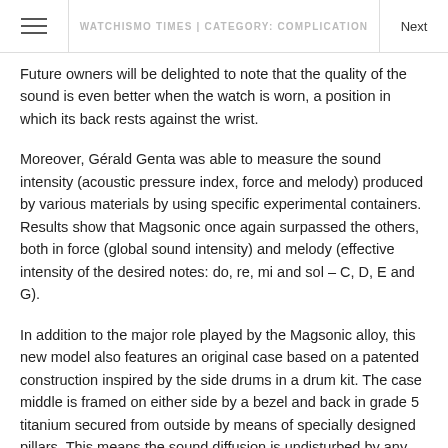WATCHISMO TIMES | CATEGORY: COMPLICATION
Future owners will be delighted to note that the quality of the sound is even better when the watch is worn, a position in which its back rests against the wrist.
Moreover, Gérald Genta was able to measure the sound intensity (acoustic pressure index, force and melody) produced by various materials by using specific experimental containers. Results show that Magsonic once again surpassed the others, both in force (global sound intensity) and melody (effective intensity of the desired notes: do, re, mi and sol – C, D, E and G).
In addition to the major role played by the Magsonic alloy, this new model also features an original case based on a patented construction inspired by the side drums in a drum kit. The case middle is framed on either side by a bezel and back in grade 5 titanium secured from outside by means of specially designed pillars. This means the sound diffusion is undisturbed by any